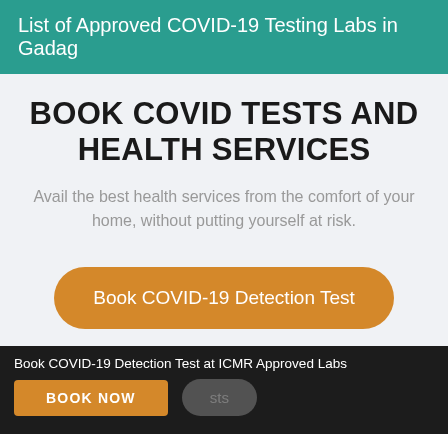List of Approved COVID-19 Testing Labs in Gadag
BOOK COVID TESTS AND HEALTH SERVICES
Avail the best health services from the comfort of your home, without putting yourself at risk.
Book COVID-19 Detection Test
Book COVID-19 Antibody Test
Book COVID-19 Detection Test at ICMR Approved Labs | BOOK NOW